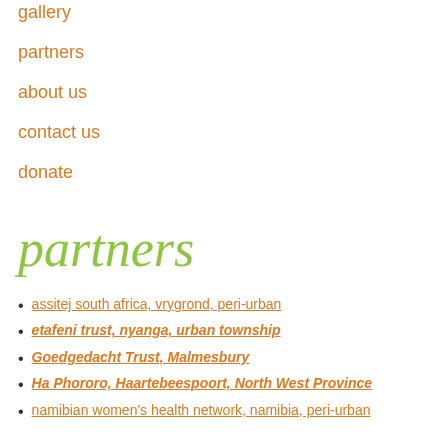gallery
partners
about us
contact us
donate
partners
assitej south africa, vrygrond, peri-urban
etafeni trust, nyanga, urban township
Goedgedacht Trust, Malmesbury
Ha Phororo, Haartebeespoort, North West Province
namibian women's health network, namibia, peri-urban